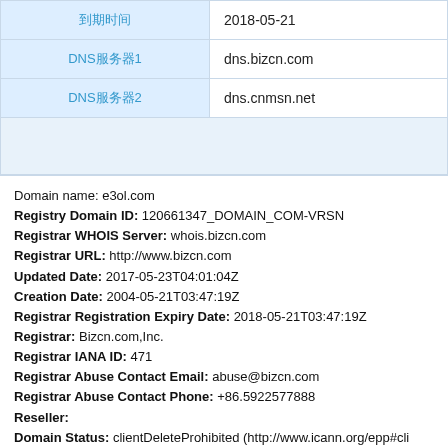| 到期时间 | 2018-05-21 |
| DNS服务器1 | dns.bizcn.com |
| DNS服务器2 | dns.cnmsn.net |
|  |  |
Domain name: e3ol.com
Registry Domain ID: 120661347_DOMAIN_COM-VRSN
Registrar WHOIS Server: whois.bizcn.com
Registrar URL: http://www.bizcn.com
Updated Date: 2017-05-23T04:01:04Z
Creation Date: 2004-05-21T03:47:19Z
Registrar Registration Expiry Date: 2018-05-21T03:47:19Z
Registrar: Bizcn.com,Inc.
Registrar IANA ID: 471
Registrar Abuse Contact Email: abuse@bizcn.com
Registrar Abuse Contact Phone: +86.5922577888
Reseller:
Domain Status: clientDeleteProhibited (http://www.icann.org/epp#cli
Domain Status: clientTransferProhibited (http://www.icann.org/epp#c
Registry Registrant ID: Not Available From Registry
Registrant Name: xiaohui fan
Registrant Organization: xiaohui fan
Registrant Street: jian xi qu huang he lu 89hao
Registrant City: Luoyang